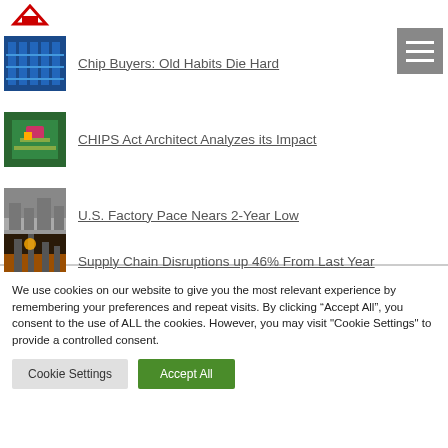[Figure (logo): Website logo - small red/white logo icon in top left corner]
[Figure (other): Hamburger menu icon - grey square with three white horizontal bars]
[Figure (photo): Thumbnail image of blue server racks/data center]
Chip Buyers: Old Habits Die Hard
[Figure (photo): Thumbnail image of green circuit board with chip]
CHIPS Act Architect Analyzes its Impact
[Figure (photo): Thumbnail image of industrial factory/warehouse interior]
U.S. Factory Pace Nears 2-Year Low
[Figure (photo): Thumbnail image of industrial facility at night with orange glow]
Supply Chain Disruptions up 46% From Last Year
We use cookies on our website to give you the most relevant experience by remembering your preferences and repeat visits. By clicking “Accept All”, you consent to the use of ALL the cookies. However, you may visit "Cookie Settings" to provide a controlled consent.
Cookie Settings
Accept All